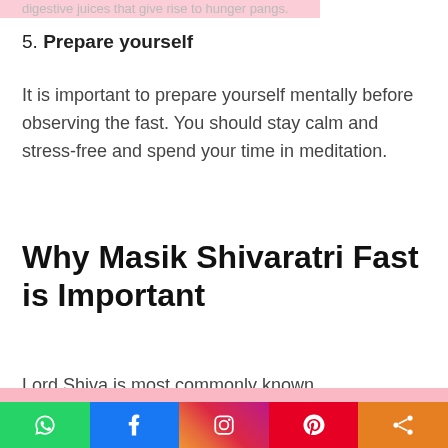digestive juices that give rise to hunger pangs.
5. Prepare yourself
It is important to prepare yourself mentally before observing the fast. You should stay calm and stress-free and spend your time in meditation.
Why Masik Shivaratri Fast is Important
Lord Shiva is most commonly known as the destroyer, but he is also the most compassionate and kind
We use cookies in order to give you the best possible experience on our website. By continuing to use this site, you agree to our use of cookies.